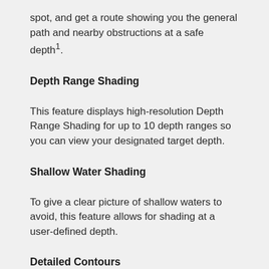spot, and get a route showing you the general path and nearby obstructions at a safe depth¹.
Depth Range Shading
This feature displays high-resolution Depth Range Shading for up to 10 depth ranges so you can view your designated target depth.
Shallow Water Shading
To give a clear picture of shallow waters to avoid, this feature allows for shading at a user-defined depth.
Detailed Contours